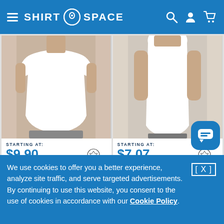SHIRT SPACE
[Figure (photo): Woman wearing white cap sleeve t-shirt with gray shorts, product photo for Alternative AA4013]
STARTING AT:
$9.90
Alternative AA4013 Women's Cap Sleeve Satin Jersey Crew T-Shirt
[Figure (photo): Woman wearing white muscle tank top, product photo for Alternative 1016CG]
STARTING AT:
$7.07
Alternative 1016CG Ladies' Heavy Wash Muscle Tank
We use cookies to offer you a better experience, analyze site traffic, and serve targeted advertisements. By continuing to use this website, you consent to the use of cookies in accordance with our Cookie Policy.